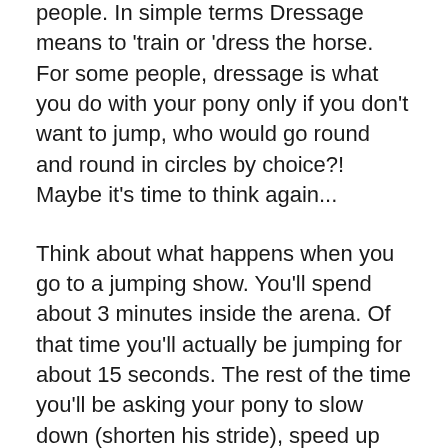people. In simple terms Dressage means to 'train or 'dress the horse. For some people, dressage is what you do with your pony only if you don't want to jump, who would go round and round in circles by choice?! Maybe it's time to think again...
Think about what happens when you go to a jumping show. You'll spend about 3 minutes inside the arena. Of that time you'll actually be jumping for about 15 seconds. The rest of the time you'll be asking your pony to slow down (shorten his stride), speed up (lengthen his stride), turn right and left, keep in canter, change the rein, all in a balanced, even, obedient way. That is a fairly good description of dressage!
When you take your pony on an outride and he sees a terrible horse–eating plastic bag monster waiting in the hedge to attack him, his easiest escape route is to leap into the middle of the road. If there is a car coming this isn't really